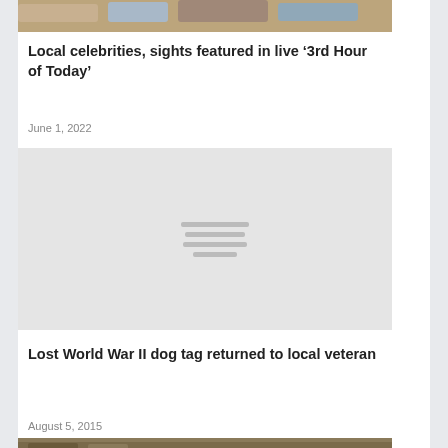[Figure (photo): Partial top image showing people on a beach/sandy area, cropped at top of page]
Local celebrities, sights featured in live ‘3rd Hour of Today’
June 1, 2022
[Figure (photo): Gray placeholder image with horizontal lines indicating an image loading state]
Lost World War II dog tag returned to local veteran
August 5, 2015
[Figure (photo): Partial bottom image, partially visible at bottom of page]